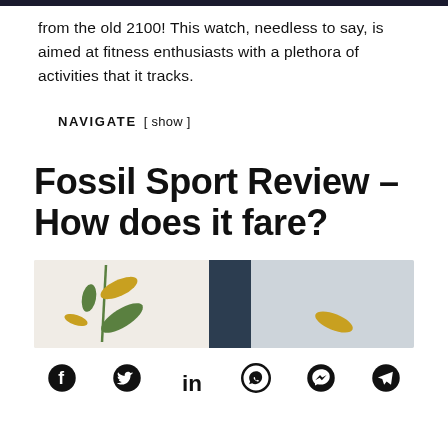from the old 2100! This watch, needless to say, is aimed at fitness enthusiasts with a plethora of activities that it tracks.
NAVIGATE [ show ]
Fossil Sport Review – How does it fare?
[Figure (photo): Hero image showing floral/plant elements on light background with a dark navy rectangle in the center dividing two panels]
[Figure (infographic): Social sharing icons row: Facebook, Twitter, LinkedIn, WhatsApp, Messenger, Telegram]